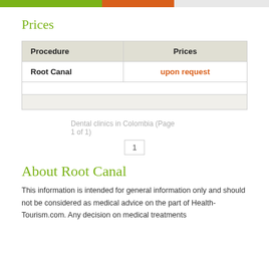| Procedure | Prices |
| --- | --- |
| Root Canal | upon request |
Dental clinics in Colombia (Page 1 of 1)
1
About Root Canal
This information is intended for general information only and should not be considered as medical advice on the part of Health-Tourism.com. Any decision on medical treatments